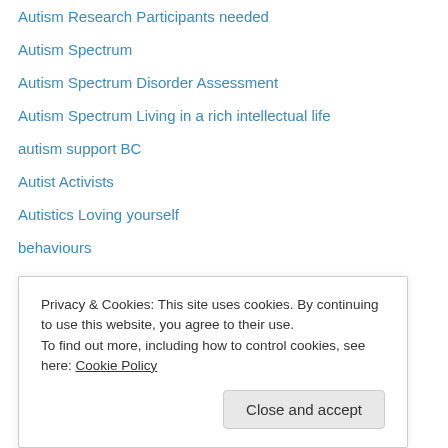Autism Research Participants needed
Autism Spectrum
Autism Spectrum Disorder Assessment
Autism Spectrum Living in a rich intellectual life
autism support BC
Autist Activists
Autistics Loving yourself
behaviours
Botox
building and maintaining relationships
bullying
camouflaging & autism
Carla Ciccone
Challenges or stressors?
DSM-5 and Services
Privacy & Cookies: This site uses cookies. By continuing to use this website, you agree to their use. To find out more, including how to control cookies, see here: Cookie Policy
Close and accept